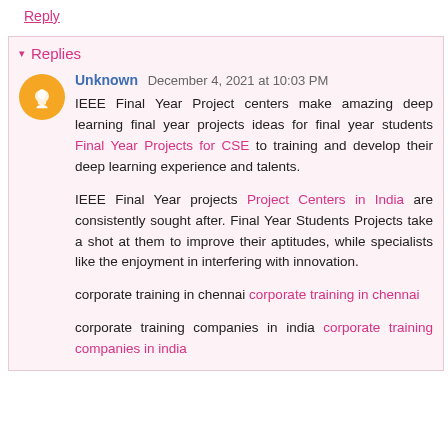Reply
Replies
Unknown  December 4, 2021 at 10:03 PM
IEEE Final Year Project centers make amazing deep learning final year projects ideas for final year students Final Year Projects for CSE to training and develop their deep learning experience and talents.

IEEE Final Year projects Project Centers in India are consistently sought after. Final Year Students Projects take a shot at them to improve their aptitudes, while specialists like the enjoyment in interfering with innovation.

corporate training in chennai corporate training in chennai

corporate training companies in india corporate training companies in india